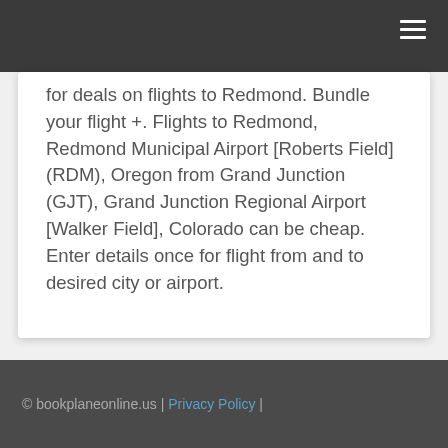for deals on flights to Redmond. Bundle your flight +. Flights to Redmond, Redmond Municipal Airport [Roberts Field] (RDM), Oregon from Grand Junction (GJT), Grand Junction Regional Airport [Walker Field], Colorado can be cheap. Enter details once for flight from and to desired city or airport.
© bookplaneonline.us | Privacy Policy |